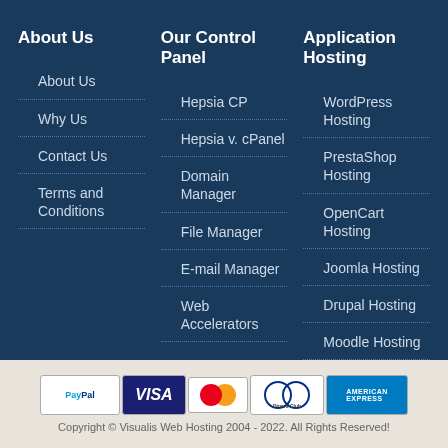About Us
About Us
Why Us
Contact Us
Terms and Conditions
Our Control Panel
Hepsia CP
Hepsia v. cPanel
Domain Manager
File Manager
E-mail Manager
Web Accelerators
Application Hosting
WordPress Hosting
PrestaShop Hosting
OpenCart Hosting
Joomla Hosting
Drupal Hosting
Moodle Hosting
[Figure (infographic): Payment method icons: PayPal, VISA, MasterCard, Diners Club, American Express]
Copyright © Visualis Web Hosting 2004 - 2022. All Rights Reserved!